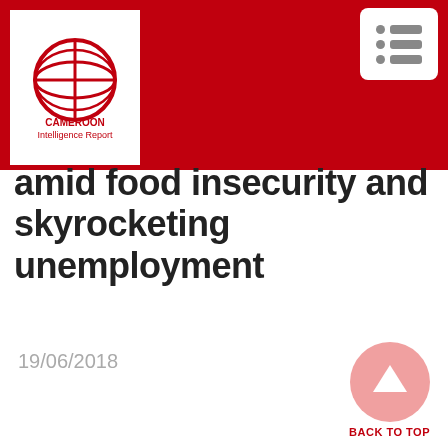Cameroon Intelligence Report
amid food insecurity and skyrocketing unemployment
19/06/2018